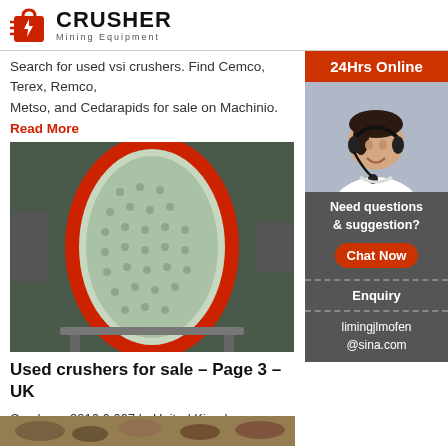[Figure (logo): Crusher Mining Equipment logo with red shopping bag/crusher icon and bold CRUSHER text]
Search for used vsi crushers. Find Cemco, Terex, Remco, Metso, and Cedarapids for sale on Machinio.
Read More
[Figure (photo): Large industrial ball mill cylinder with white/green studded surface and red accents inside a factory]
Used crushers for sale – Page 3 – UK
Crushers. 2016 6,667 h. United Kingdom, Newa... GBP. Terex Canica 2050LS Pinion VSI Crusher. information: Terex Canica 2050LS Pinion VSI Cr... sale, year 2014. VSI Impact Crusher built on 4 w... This VSI crusher comes with 3 pallet. Crushers.
Read More
[Figure (photo): 24Hrs Online sidebar banner with customer support woman wearing headset, chat now button, enquiry link, and email address limingjlmofen@sina.com]
[Figure (photo): Bottom strip partial image of crushed material/rocks]